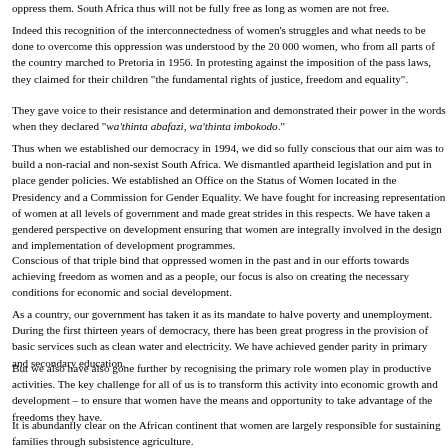oppress them. South Africa thus will not be fully free as long as women are not free.
Indeed this recognition of the interconnectedness of women's struggles and what needs to be done to overcome this oppression was understood by the 20 000 women, who from all parts of the country marched to Pretoria in 1956. In protesting against the imposition of the pass laws, they claimed for their children "the fundamental rights of justice, freedom and equality".
They gave voice to their resistance and determination and demonstrated their power in the words when they declared "wa'thinta abafazi, wa'thinta imbokodo."
Thus when we established our democracy in 1994, we did so fully conscious that our aim was to build a non-racial and non-sexist South Africa. We dismantled apartheid legislation and put in place gender policies. We established an Office on the Status of Women located in the Presidency and a Commission for Gender Equality. We have fought for increasing representation of women at all levels of government and made great strides in this respects. We have taken a gendered perspective on development ensuring that women are integrally involved in the design and implementation of development programmes.
Conscious of that triple bind that oppressed women in the past and in our efforts towards achieving freedom as women and as a people, our focus is also on creating the necessary conditions for economic and social development.
As a country, our government has taken it as its mandate to halve poverty and unemployment. During the first thirteen years of democracy, there has been great progress in the provision of basic services such as clean water and electricity. We have achieved gender parity in primary and secondary education.
But we also have also gone further by recognising the primary role women play in productive activities. The key challenge for all of us is to transform this activity into economic growth and development – to ensure that women have the means and opportunity to take advantage of the freedoms they have.
It is abundantly clear on the African continent that women are largely responsible for sustaining families through subsistence agriculture.
According to the U.S. Agency for International Development (USAID), "rural women are responsible for half of the world's food production and produce between 60% and 80% of the food in most developing countries."
Thus women are key to agricultural development.